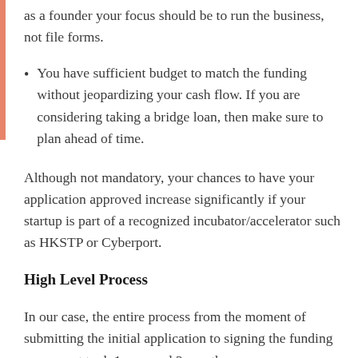as a founder your focus should be to run the business, not file forms.
You have sufficient budget to match the funding without jeopardizing your cash flow. If you are considering taking a bridge loan, then make sure to plan ahead of time.
Although not mandatory, your chances to have your application approved increase significantly if your startup is part of a recognized incubator/accelerator such as HKSTP or Cyberport.
High Level Process
In our case, the entire process from the moment of submitting the initial application to signing the funding agreement took 1 year and 2 months.